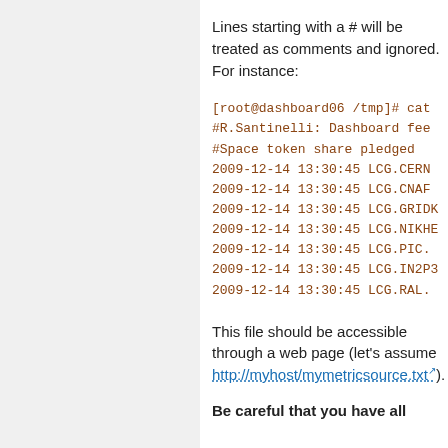Lines starting with a # will be treated as comments and ignored. For instance:
[root@dashboard06 /tmp]# cat
#R.Santinelli: Dashboard feed
#Space token share pledged
2009-12-14 13:30:45 LCG.CERN
2009-12-14 13:30:45 LCG.CNAF
2009-12-14 13:30:45 LCG.GRIDKA
2009-12-14 13:30:45 LCG.NIKHEF
2009-12-14 13:30:45 LCG.PIC.
2009-12-14 13:30:45 LCG.IN2P3
2009-12-14 13:30:45 LCG.RAL.
This file should be accessible through a web page (let's assume http://myhost/mymetricsource.txt↗).
Be careful that you have all